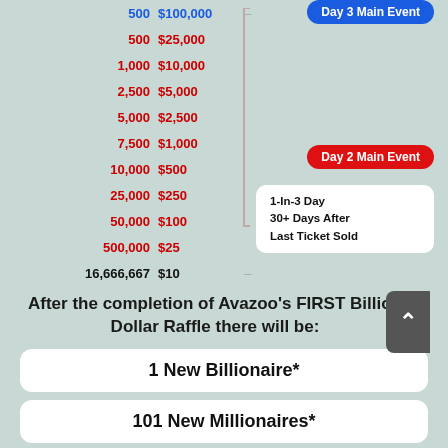| Tickets | Prize |
| --- | --- |
| 500 | $100,000 |
| 500 | $25,000 |
| 1,000 | $10,000 |
| 2,500 | $5,000 |
| 5,000 | $2,500 |
| 7,500 | $1,000 |
| 10,000 | $500 |
| 25,000 | $250 |
| 50,000 | $100 |
| 500,000 | $25 |
| 16,666,667 | $10 |
Day 3 Main Event
Day 2 Main Event
1-In-3 Day
30+ Days After
Last Ticket Sold
After the completion of Avazoo’s FIRST Billion Dollar Raffle there will be:
1 New Billionaire*
101 New Millionaires*